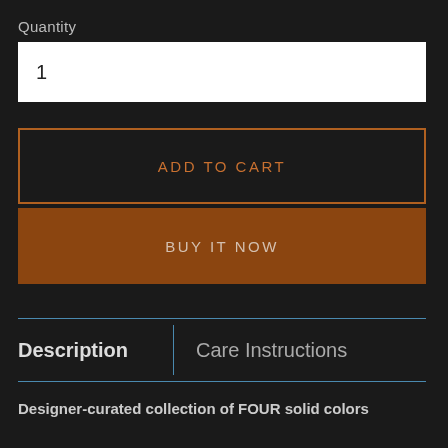Quantity
1
ADD TO CART
BUY IT NOW
| Description | Care Instructions |
| --- | --- |
Designer-curated collection of FOUR solid colors